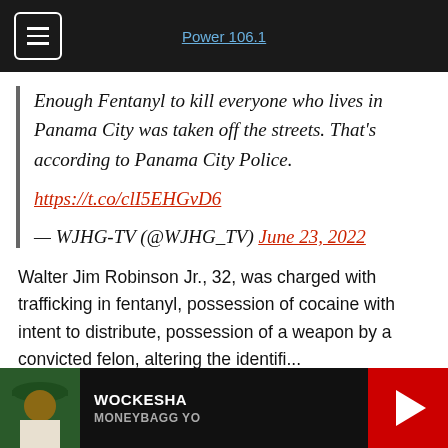Power 106.1
Enough Fentanyl to kill everyone who lives in Panama City was taken off the streets. That's according to Panama City Police. https://t.co/clI5EHGvD6 — WJHG-TV (@WJHG_TV) June 23, 2022
Walter Jim Robinson Jr., 32, was charged with trafficking in fentanyl, possession of cocaine with intent to distribute, possession of a weapon by a convicted felon, altering the identification...
[Figure (other): Music player bar showing artist photo, song title WOCKESHA by MONEYBAGG YO, and play button]